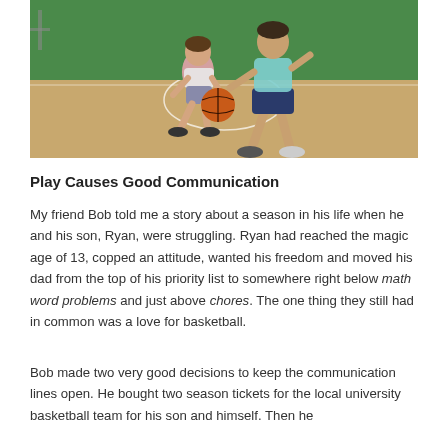[Figure (photo): Two people playing basketball on an indoor court; one person is dribbling while the other defends.]
Play Causes Good Communication
My friend Bob told me a story about a season in his life when he and his son, Ryan, were struggling. Ryan had reached the magic age of 13, copped an attitude, wanted his freedom and moved his dad from the top of his priority list to somewhere right below math word problems and just above chores. The one thing they still had in common was a love for basketball.
Bob made two very good decisions to keep the communication lines open. He bought two season tickets for the local university basketball team for his son and himself. Then he